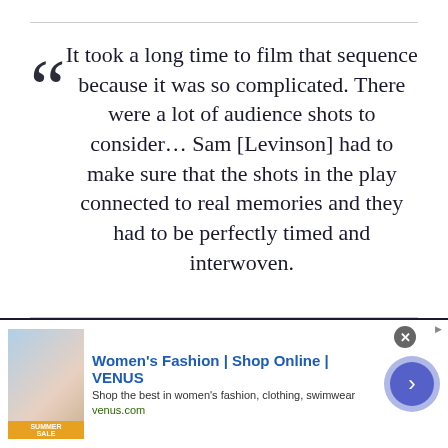It took a long time to film that sequence because it was so complicated. There were a lot of audience shots to consider... Sam [Levinson] had to make sure that the shots in the play connected to real memories and they had to be perfectly timed and interwoven.
All season long, Lexi (Maude Apatow) has been
[Figure (other): Advertisement banner for Women's Fashion at VENUS online shop showing a sale image, title 'Women's Fashion | Shop Online | VENUS', subtitle 'Shop the best in women's fashion, clothing, swimwear', URL 'venus.com', close button, and a forward arrow button.]